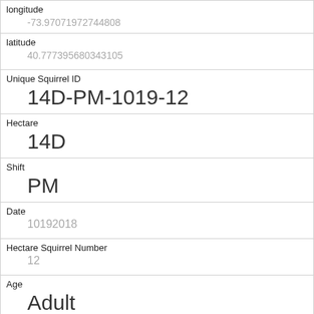| Field | Value |
| --- | --- |
| longitude | -73.97071972744808 |
| latitude | 40.777395680343105 |
| Unique Squirrel ID | 14D-PM-1019-12 |
| Hectare | 14D |
| Shift | PM |
| Date | 10192018 |
| Hectare Squirrel Number | 12 |
| Age | Adult |
| Primary Fur Color | Gray |
| Highlight Fur Color |  |